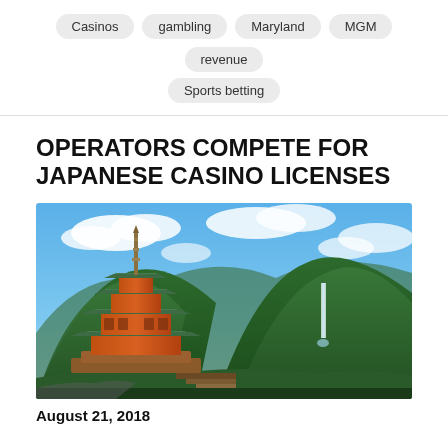Casinos
gambling
Maryland
MGM
revenue
Sports betting
OPERATORS COMPETE FOR JAPANESE CASINO LICENSES
[Figure (photo): A traditional Japanese pagoda temple with orange/red wooden architecture and green tiled roof, surrounded by lush green forested mountains under a partly cloudy blue sky, with a waterfall visible in the background.]
August 21, 2018